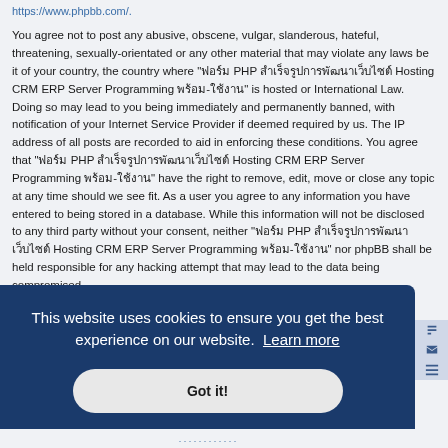https://www.phpbb.com/.
You agree not to post any abusive, obscene, vulgar, slanderous, hateful, threatening, sexually-orientated or any other material that may violate any laws be it of your country, the country where "ฟอร์ม PHP สำเร็จรูปการพัฒนาเว็บไซต์ Hosting CRM ERP Server Programming พร้อม-ใช้งาน" is hosted or International Law. Doing so may lead to you being immediately and permanently banned, with notification of your Internet Service Provider if deemed required by us. The IP address of all posts are recorded to aid in enforcing these conditions. You agree that "ฟอร์ม PHP สำเร็จรูปการพัฒนาเว็บไซต์ Hosting CRM ERP Server Programming พร้อม-ใช้งาน" have the right to remove, edit, move or close any topic at any time should we see fit. As a user you agree to any information you have entered to being stored in a database. While this information will not be disclosed to any third party without your consent, neither "ฟอร์ม PHP สำเร็จรูปการพัฒนาเว็บไซต์ Hosting CRM ERP Server Programming พร้อม-ใช้งาน" nor phpBB shall be held responsible for any hacking attempt that may lead to the data being compromised.
This website uses cookies to ensure you get the best experience on our website. Learn more
Got it!